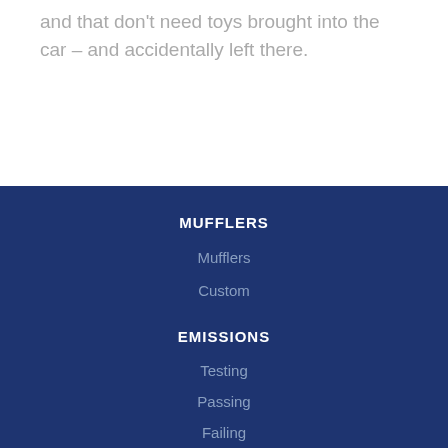and that don't need toys brought into the car – and accidentally left there.
MUFFLERS
Mufflers
Custom
EMISSIONS
Testing
Passing
Failing